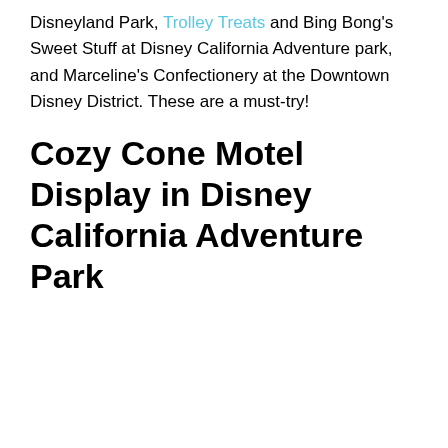Disneyland Park, Trolley Treats and Bing Bong's Sweet Stuff at Disney California Adventure park, and Marceline's Confectionery at the Downtown Disney District. These are a must-try!
Cozy Cone Motel Display in Disney California Adventure Park